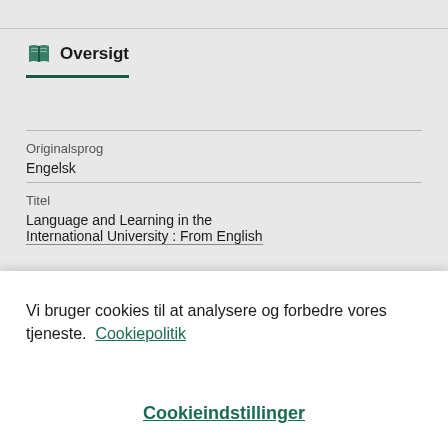Oversigt
Originalsprog
Engelsk
Titel
Language and Learning in the International University : From English
Vi bruger cookies til at analysere og forbedre vores tjeneste.  Cookiepolitik
Cookieindstillinger